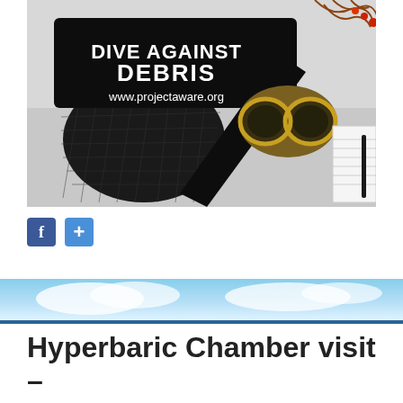[Figure (photo): Photo showing a black mesh 'Dive Against Debris' drawstring bag with text 'DIVE AGAINST DEBRIS www.projectaware.org' and what appears to be old corroded diving goggles/mask with yellowed rubber, along with some plant roots/material, laid out on a white surface.]
[Figure (infographic): Social share buttons: Facebook (f) and a plus (+) button in blue]
[Figure (photo): Banner image showing blue sky and water, with a blue stripe at the bottom]
Hyperbaric Chamber visit – 11th February 2018
Posted on January 26, 2018